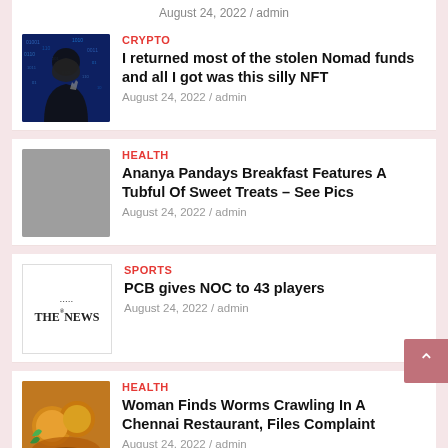August 24, 2022 / admin
CRYPTO
I returned most of the stolen Nomad funds and all I got was this silly NFT
August 24, 2022 / admin
HEALTH
Ananya Pandays Breakfast Features A Tubful Of Sweet Treats – See Pics
August 24, 2022 / admin
SPORTS
PCB gives NOC to 43 players
August 24, 2022 / admin
HEALTH
Woman Finds Worms Crawling In A Chennai Restaurant, Files Complaint
August 24, 2022 / admin